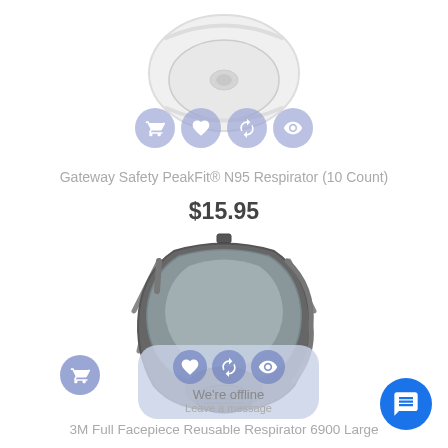[Figure (photo): Gateway Safety PeakFit N95 Respirator product image (white/light colored mask) with four action icon buttons below: cart, heart/wishlist, refresh, and eye/view]
Gateway Safety PeakFit® N95 Respirator (10 Count)
$15.95
[Figure (photo): 3M Full Facepiece Reusable Respirator 6900 Large product image (dark gray full-face respirator mask) with action icon buttons and an offline chat overlay]
We're offline
Leave a message
3M Full Facepiece Reusable Respirator 6900 Large